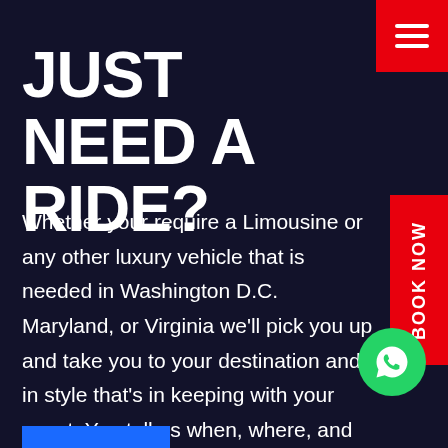[Figure (other): Red hamburger menu button in top-right corner with three white horizontal lines]
JUST NEED A RIDE?
[Figure (other): Red vertical 'Book Now' button on the right side]
Whether your require a Limousine or any other luxury vehicle that is needed in Washington D.C. Maryland, or Virginia we'll pick you up and take you to your destination and in style that's in keeping with your event. You tell us when, where, and how long, and we'll take you there with a chauffeur that is friendly, helpful, and a professional whose knowledgeable about entertainment and business venues throughout the Washington DC area.
[Figure (other): Green circular WhatsApp icon button in bottom-right area]
[Figure (other): Blue horizontal bar at the bottom-left of the page]